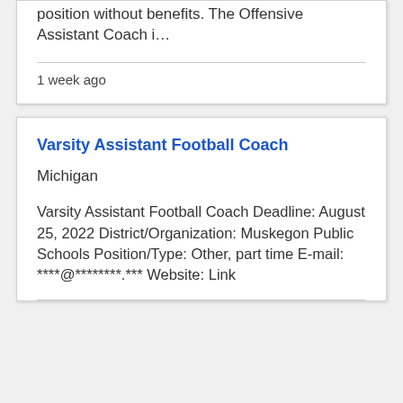position without benefits. The Offensive Assistant Coach i...
1 week ago
Varsity Assistant Football Coach
Michigan
Varsity Assistant Football Coach Deadline: August 25, 2022 District/Organization: Muskegon Public Schools Position/Type: Other, part time E-mail: ****@********.*** Website: Link